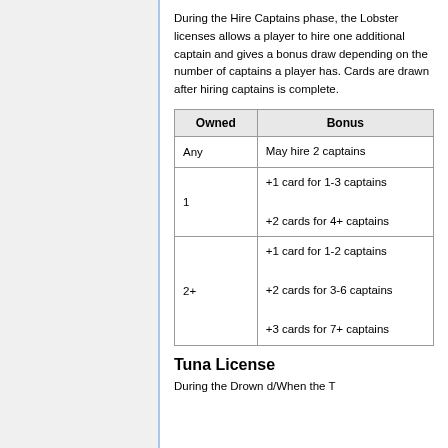During the Hire Captains phase, the Lobster licenses allows a player to hire one additional captain and gives a bonus draw depending on the number of captains a player has. Cards are drawn after hiring captains is complete.
| Owned | Bonus |
| --- | --- |
| Any | May hire 2 captains |
| 1 | +1 card for 1-3 captains
+2 cards for 4+ captains |
| 2+ | +1 card for 1-2 captains
+2 cards for 3-6 captains
+3 cards for 7+ captains |
Tuna License
During the Drown d/When the T...